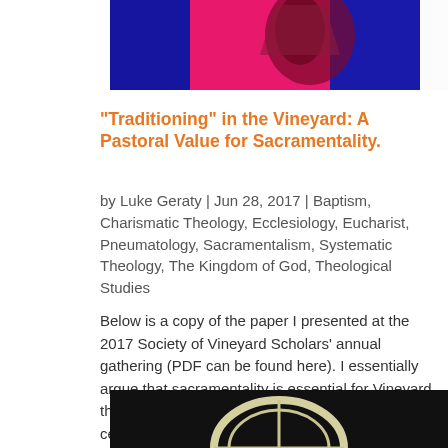[Figure (photo): Colorful abstract image with blue, pink/magenta, and dark red tones, partially visible at top of page]
“Traditioning” in the Vineyard: A Pastoral Value for Sacramentality.
by Luke Geraty | Jun 28, 2017 | Baptism, Charismatic Theology, Ecclesiology, Eucharist, Pneumatology, Sacramentalism, Systematic Theology, The Kingdom of God, Theological Studies
Below is a copy of the paper I presented at the 2017 Society of Vineyard Scholars’ annual gathering (PDF can be found here). I essentially argue that sacramentality is essential for Vineyard theology and praxis, especially the regular celebration of Communion....
[Figure (photo): Black background image with a circular white/cream graphic element visible at bottom of page]